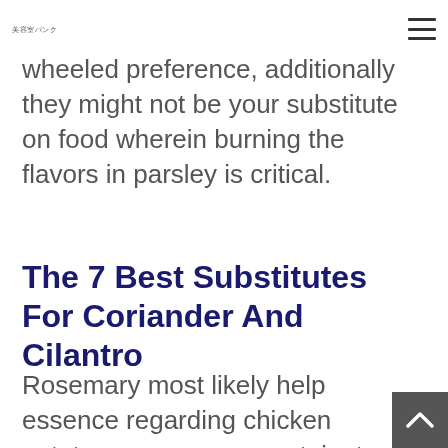美容室バンク
wheeled preference, additionally they might not be your substitute on food wherein burning the flavors in parsley is critical.
The 7 Best Substitutes For Coriander And Cilantro
Rosemary most likely help essence regarding chicken potatoes, necessary protein, to locate a hen food. Lemon are really a healthy dining-room staple, use by tens of thousands of dishes, and yo